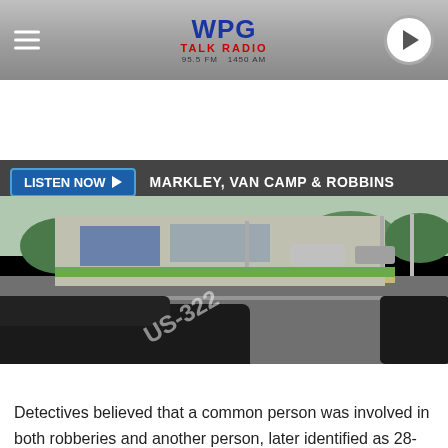WPG TALK RADIO 95.5 FM 1450 AM
LISTEN NOW ▶  MARKLEY, VAN CAMP & ROBBINS
f Share   🐦 Tweet
[Figure (photo): Street-level Google Maps view of a gas station (formerly Gulf, now US Gas) on the Black Horse Pike in Williamstown NJ. A dark SUV is visible in the foreground with a US-322 road marking, and a dark SUV is visible on the right.]
The current US Gas station, formerly Gulf, on the Black Horse Pike in Williamstown NJ · Photo: Google Maps
Detectives believed that a common person was involved in both robberies and another person, later identified as 28-year-old Shaihe S. Sharpe of Philadelphia, was driving a getaway